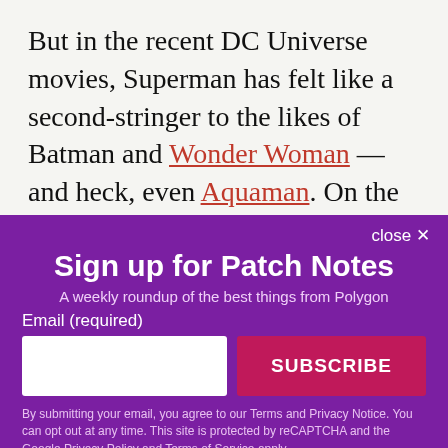But in the recent DC Universe movies, Superman has felt like a second-stringer to the likes of Batman and Wonder Woman — and heck, even Aquaman. On the CW's DC Comics-derived superhero programming blocks (a.k.a. the “Arrowverse”), Superman is getting the star treatment long after Green Arrow, the Flash,
[Figure (screenshot): Email signup overlay for 'Patch Notes' newsletter from Polygon, with purple background, email input field, SUBSCRIBE button, and fine print about Terms and Privacy Notice.]